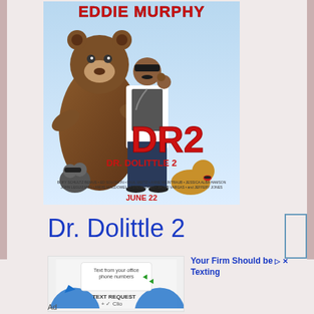[Figure (photo): Movie poster for Dr. Dolittle 2 featuring Eddie Murphy in a doctor's coat standing next to a large bear, with raccoons and a golden retriever at the bottom. Large red text reads DR2 and DR. DOLITTLE 2 with JUNE 22 at the bottom. EDDIE MURPHY written in red at the top.]
Dr. Dolittle 2
[Figure (photo): Advertisement banner for Text Request + Clio showing a phone texting interface with paper airplane icons and blue silhouettes]
Your Firm Should be Texting
Ad